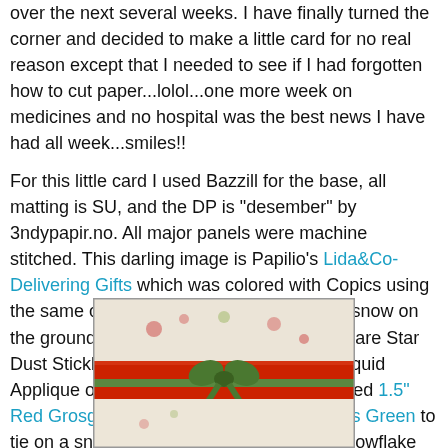over the next several weeks. I have finally turned the corner and decided to make a little card for no real reason except that I needed to see if I had forgotten how to cut paper...lolol...one more week on medicines and no hospital was the best news I have had all week...smiles!!
For this little card I used Bazzill for the base, all matting is SU, and the DP is "desember" by 3ndypapir.no. All major panels were machine stitched. This darling image is Papilio's Lida&Co-Delivering Gifts which was colored with Copics using the same colors from the DP children. The snow on the ground is Diamond Dust and the flakes are Star Dust Stickles. I also used a little touch of Liquid Applique on the cap. For the horizontal I used 1.5" Red Grosgrain ribbon and Totally Twill Moss Green to tie on a snowflake dangle. I used double snowflake ornaments on the upper left with moss colored rhinestones added. The front was finished with more rhinestones to soften the corners.
[Figure (photo): A handmade Christmas card featuring a white/cream patterned background with a wide red horizontal ribbon band and a green grosgrain ribbon tied in a bow on top.]